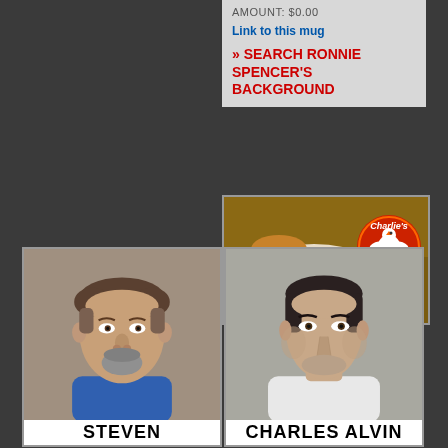AMOUNT: $0.00
Link to this mug
» SEARCH RONNIE SPENCER'S BACKGROUND
[Figure (photo): Advertisement photo showing a plate of food including a burger, fried chicken, green beans, corn, with Charlie's Chicken logo]
[Figure (photo): Mugshot of Steven, white male middle-aged with goatee, wearing blue shirt]
[Figure (photo): Mugshot of Charles Alvin, white male middle-aged with dark hair, wearing white shirt]
STEVEN
CHARLES ALVIN